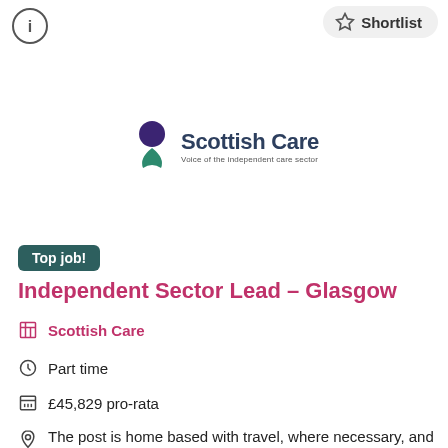[Figure (logo): Circle with number 1 icon, top left]
[Figure (logo): Shortlist button with star icon, top right]
[Figure (logo): Scottish Care logo — purple circle and leaf mark with text 'Scottish Care' and tagline 'Voice of the independent care sector']
Top job!
Independent Sector Lead – Glasgow
Scottish Care
Part time
£45,829 pro-rata
The post is home based with travel, where necessary, and